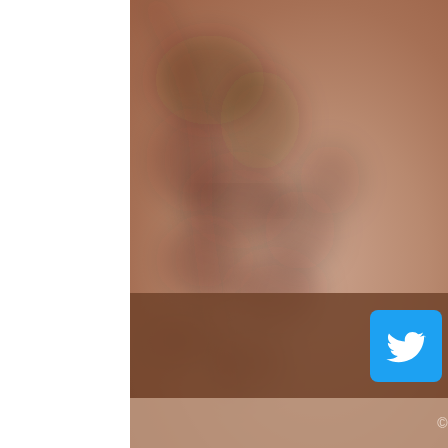[Figure (photo): Warm tan/beige textured background with soft blurred leaf/plant shadow pattern in darker brown tones, occupying the right portion of the page. Left side is white.]
[Figure (illustration): Social media icons row: Twitter (blue bird), Pinterest (red P on white), Instagram (gradient camera icon)]
© 2021 for Valerie Fentress